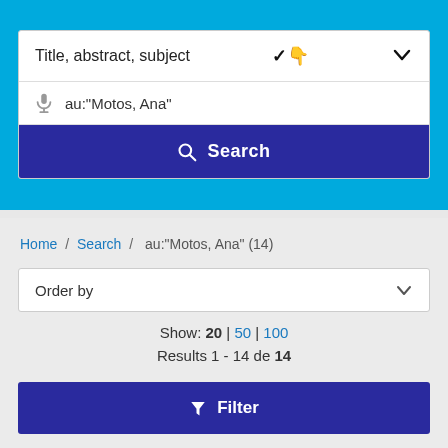[Figure (screenshot): Search interface with dropdown field showing 'Title, abstract, subject', search input with microphone icon and text 'au:"Motos, Ana"', and a blue Search button]
Home / Search / au:"Motos, Ana" (14)
Order by
Show: 20 | 50 | 100
Results 1 - 14 de 14
Filter